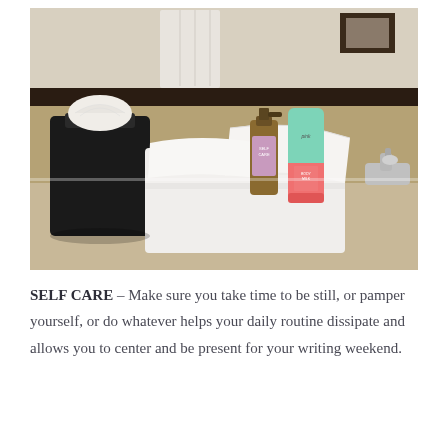[Figure (photo): A bathroom countertop with folded white towels, a black tissue box holder with white tissues, and two beauty/skincare product bottles (one small amber spray bottle and one pink and mint green tube/bottle), with a mirror and faucet visible in the background.]
SELF CARE – Make sure you take time to be still, or pamper yourself, or do whatever helps your daily routine dissipate and allows you to center and be present for your writing weekend.